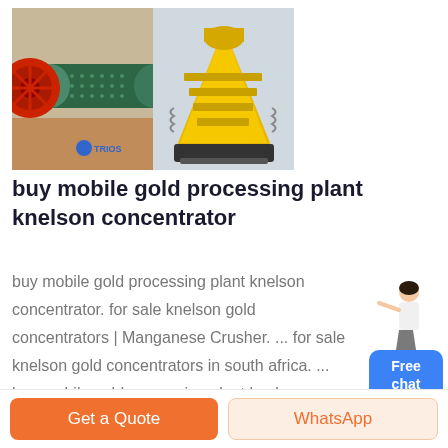[Figure (photo): Two industrial mining machines: left shows a ball mill (green cylindrical drum with red flywheel, TRIOS branding), right shows a cone crusher (yellow/black heavy equipment)]
buy mobile gold processing plant knelson concentrator
buy mobile gold processing plant knelson concentrator. for sale knelson gold concentrators | Manganese Crusher. ... for sale knelson gold concentrators in south africa. ... buy mobile gold processing plant knelson concentrator. It's long since been
[Figure (illustration): Free chat widget: woman figure pointing at a blue rounded button labeled 'Free chat']
Get a Quote
WhatsApp